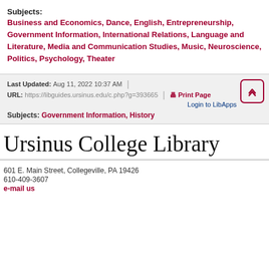Subjects: Business and Economics, Dance, English, Entrepreneurship, Government Information, International Relations, Language and Literature, Media and Communication Studies, Music, Neuroscience, Politics, Psychology, Theater
Last Updated: Aug 11, 2022 10:37 AM | URL: https://libguides.ursinus.edu/c.php?g=393665 | Print Page | Login to LibApps
Subjects: Government Information, History
Ursinus College Library
601 E. Main Street, Collegeville, PA 19426
610-409-3607
e-mail us